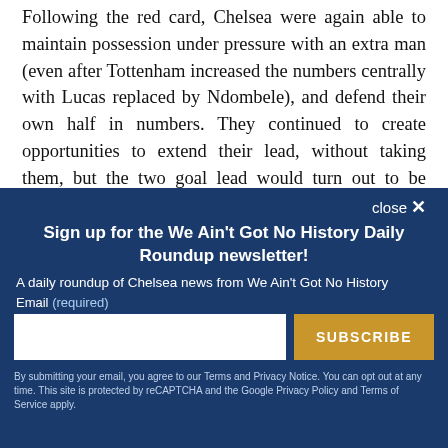Following the red card, Chelsea were again able to maintain possession under pressure with an extra man (even after Tottenham increased the numbers centrally with Lucas replaced by Ndombele), and defend their own half in numbers. They continued to create opportunities to extend their lead, without taking them, but the two goal lead would turn out to be enough to
close ✕
Sign up for the We Ain't Got No History Daily Roundup newsletter!
A daily roundup of Chelsea news from We Ain't Got No History
Email (required)
SUBSCRIBE
By submitting your email, you agree to our Terms and Privacy Notice. You can opt out at any time. This site is protected by reCAPTCHA and the Google Privacy Policy and Terms of Service apply.